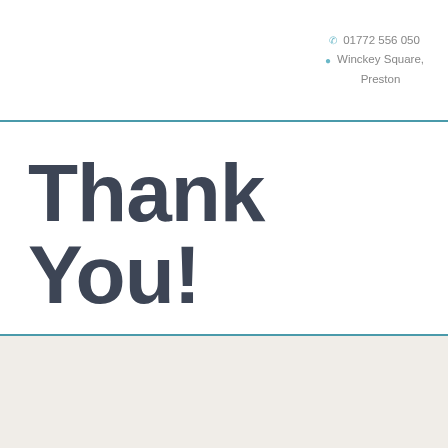01772 556 050
Winckey Square, Preston
Thank You!
We will get in touch with you soon.